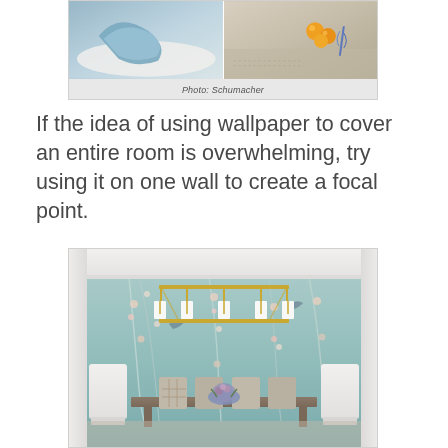[Figure (photo): Two side-by-side interior/lifestyle photos: left shows a light blue decorative item on a soft surface, right shows oranges and a blue feather on a neutral surface]
Photo: Schumacher
If the idea of using wallpaper to cover an entire room is overwhelming, try using it on one wall to create a focal point.
[Figure (photo): Dining room with floor-to-ceiling teal/blue chinoiserie wallpaper featuring birds and floral branches, a gold rectangular chandelier, a wooden dining table, white upholstered host chairs, and several dining chairs around the table with a floral centerpiece]